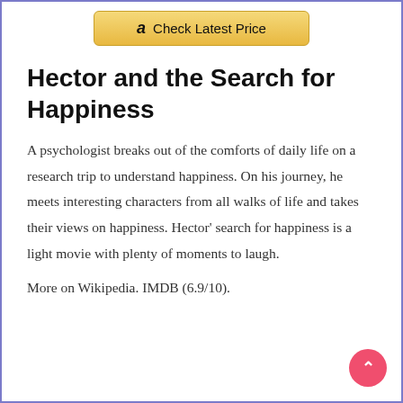[Figure (other): Amazon 'Check Latest Price' button with golden/yellow gradient background and Amazon logo]
Hector and the Search for Happiness
A psychologist breaks out of the comforts of daily life on a research trip to understand happiness. On his journey, he meets interesting characters from all walks of life and takes their views on happiness. Hector' search for happiness is a light movie with plenty of moments to laugh.
More on Wikipedia. IMDB (6.9/10).